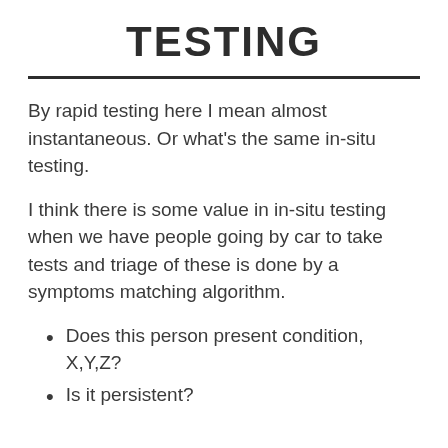TESTING
By rapid testing here I mean almost instantaneous. Or what’s the same in-situ testing.
I think there is some value in in-situ testing when we have people going by car to take tests and triage of these is done by a symptoms matching algorithm.
Does this person present condition, X,Y,Z?
Is it persistent?